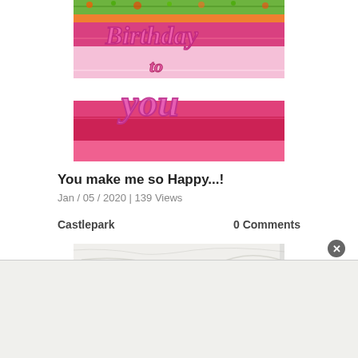[Figure (photo): Close-up photo of a colorful crocheted or knitted birthday card with pink 3D lettering spelling 'Birthday to You' on a multicolored background of orange, green, and pink yarns]
You make me so Happy...!
Jan / 05 / 2020 | 139 Views
Castlepark
0 Comments
[Figure (photo): Partial view of a marble-textured surface, light grey/white with subtle veining]
[Figure (other): Advertisement banner area at bottom of page with a circular close/dismiss button (X) in grey]